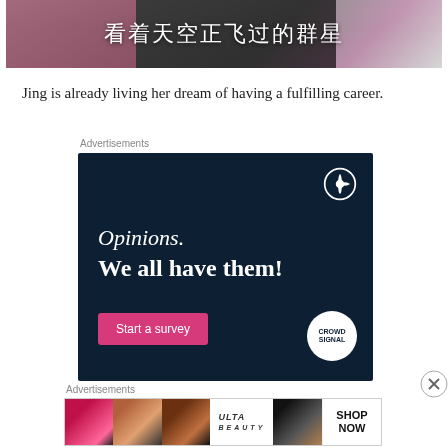[Figure (photo): Cropped photo of a person with Chinese text overlay reading '看着天空正飞过的群星']
Jing is already living her dream of having a fulfilling career.
Advertisements
[Figure (infographic): WordPress/CrowdSignal advertisement with dark navy background. Text reads 'Opinions. We all have them!' with a 'Start a survey' pink button and WordPress logo.]
Advertisements
[Figure (infographic): ULTA Beauty advertisement banner with makeup imagery (lips, brush, eye closeups), ULTA logo, and SHOP NOW text.]